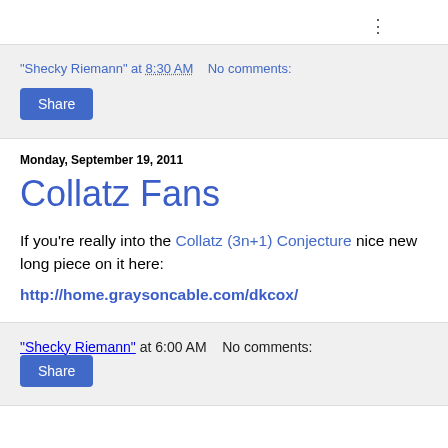:
"Shecky Riemann" at 8:30 AM   No comments:
Share
Monday, September 19, 2011
Collatz Fans
If you're really into the Collatz (3n+1) Conjecture nice new long piece on it here:
http://home.graysoncable.com/dkcox/
"Shecky Riemann" at 6:00 AM   No comments:
Share